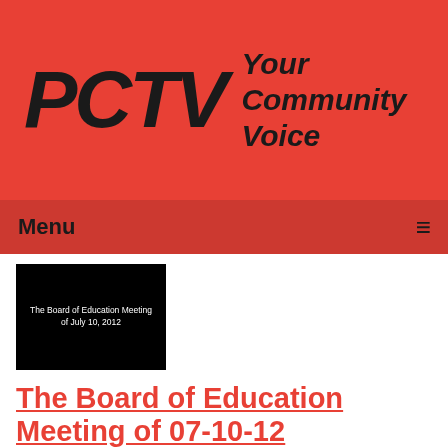[Figure (logo): PCTV logo with text 'PCTV' in large bold italic letters and tagline 'Your Community Voice' on a red background]
Menu
[Figure (screenshot): Black thumbnail image with white text reading 'The Board of Education Meeting of July 10, 2012']
The Board of Education Meeting of 07-10-12
Airdate: 07/10/2012